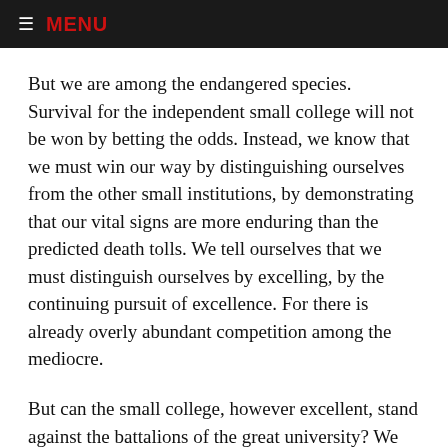MENU
But we are among the endangered species. Survival for the independent small college will not be won by betting the odds. Instead, we know that we must win our way by distinguishing ourselves from the other small institutions, by demonstrating that our vital signs are more enduring than the predicted death tolls. We tell ourselves that we must distinguish ourselves by excelling, by the continuing pursuit of excellence. For there is already overly abundant competition among the mediocre.
But can the small college, however excellent, stand against the battalions of the great university? We are assisted in answering this question by expressions of discontent among many university leaders. Steven Muller, President of the Johns Hopkins University, who shares this platform, has declared, “The modern